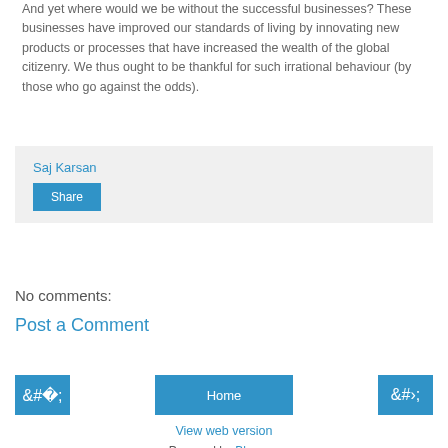And yet where would we be without the successful businesses? These businesses have improved our standards of living by innovating new products or processes that have increased the wealth of the global citizenry. We thus ought to be thankful for such irrational behaviour (by those who go against the odds).
Saj Karsan
Share
No comments:
Post a Comment
‹
Home
›
View web version
Powered by Blogger.